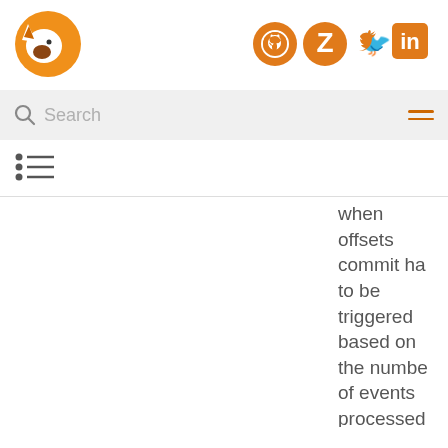[Figure (logo): Orange and brown fox/wolf logo]
[Figure (infographic): Social icons: GitHub, Zulip, Twitter, LinkedIn in orange]
[Figure (screenshot): Search bar with magnifying glass icon and hamburger menu]
[Figure (infographic): Table of contents list icon]
when offsets commit ha to be triggered based on the number of events processed and the time elapsed